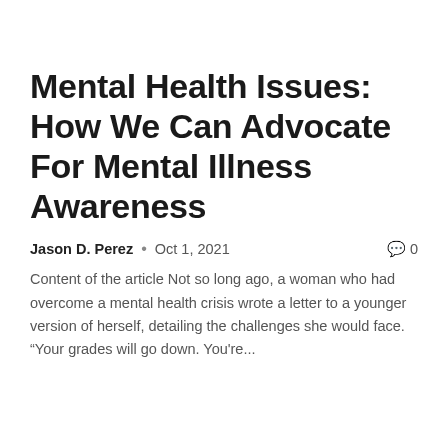Mental Health Issues: How We Can Advocate For Mental Illness Awareness
Jason D. Perez  •  Oct 1, 2021  💬 0
Content of the article Not so long ago, a woman who had overcome a mental health crisis wrote a letter to a younger version of herself, detailing the challenges she would face. “Your grades will go down. You're...